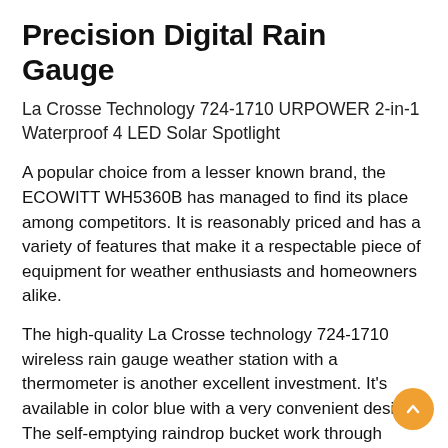Precision Digital Rain Gauge
La Crosse Technology 724-1710 URPOWER 2-in-1 Waterproof 4 LED Solar Spotlight
A popular choice from a lesser known brand, the ECOWITT WH5360B has managed to find its place among competitors. It is reasonably priced and has a variety of features that make it a respectable piece of equipment for weather enthusiasts and homeowners alike.
The high-quality La Crosse technology 724-1710 wireless rain gauge weather station with a thermometer is another excellent investment. It's available in color blue with a very convenient design. The self-emptying raindrop bucket work through internal tilting containers. You can view the rain history graph with details on the previous week, month, or other desired time. See the pros and cons when